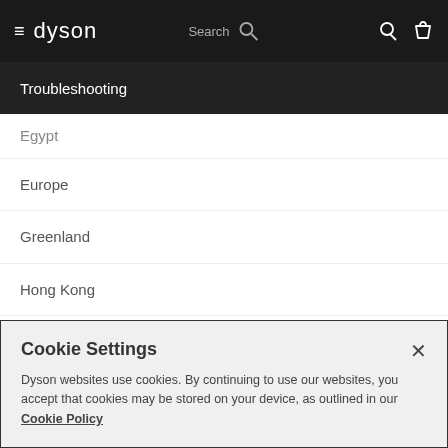dyson | Search
Troubleshooting
Egypt
Europe
Greenland
Hong Kong
India
Cookie Settings
Dyson websites use cookies. By continuing to use our websites, you accept that cookies may be stored on your device, as outlined in our Cookie Policy